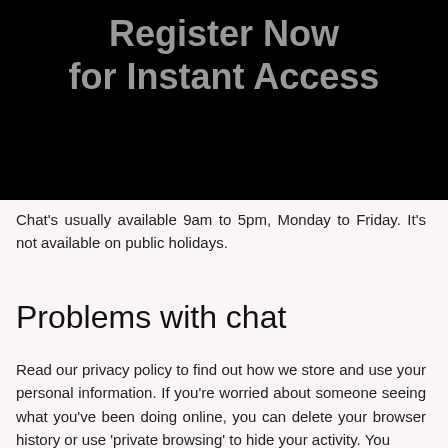[Figure (screenshot): Black background banner with gray text reading 'Register Now for Instant Access']
Chat's usually available 9am to 5pm, Monday to Friday. It's not available on public holidays.
Problems with chat
Read our privacy policy to find out how we store and use your personal information. If you're worried about someone seeing what you've been doing online, you can delete your browser history or use 'private browsing' to hide your activity. You